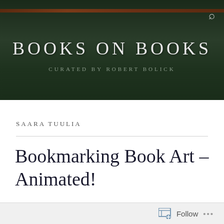[Figure (screenshot): Website header banner with dark green textured background, a brown/rust colored horizontal stripe near top, and a search icon (magnifying glass) in top right corner.]
BOOKS ON BOOKS
CURATED BY ROBERT BOLICK
SAARA TUULIA
Bookmarking Book Art – Animated!
Follow ...